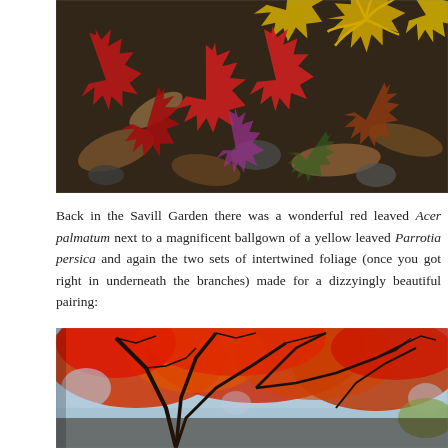[Figure (photo): Photograph of fallen autumn leaves on the ground, showing red Japanese maple (Acer palmatum) leaves and yellow leaves mixed together on a dark forest floor background.]
Back in the Savill Garden there was a wonderful red leaved Acer palmatum next to a magnificent ballgown of a yellow leaved Parrotia persica and again the two sets of intertwined foliage (once you got right in underneath the branches) made for a dizzyingly beautiful pairing:
[Figure (photo): Photograph looking up through autumn tree canopy showing red and orange leaves against a bright sky, with dark branches silhouetted.]